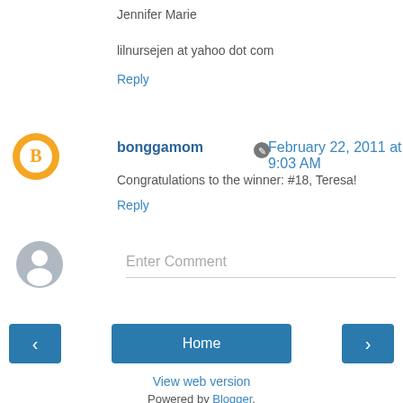Jennifer Marie
lilnursejen at yahoo dot com
Reply
bonggamom  February 22, 2011 at 9:03 AM
Congratulations to the winner: #18, Teresa!
Reply
Enter Comment
Home
View web version
Powered by Blogger.